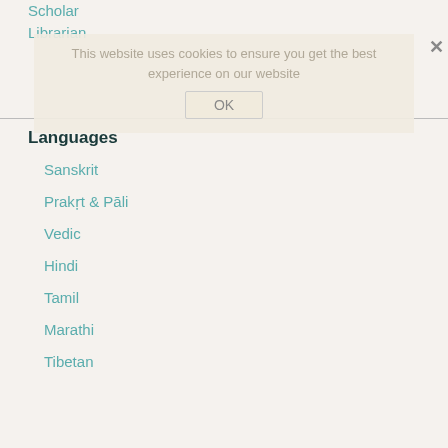Scholar
Librarian
This website uses cookies to ensure you get the best experience on our website
Languages
Sanskrit
Prakṛt & Pāli
Vedic
Hindi
Tamil
Marathi
Tibetan
Origin
Scandinavia
Schweden
Denmark
Finnland
Europe
Austria